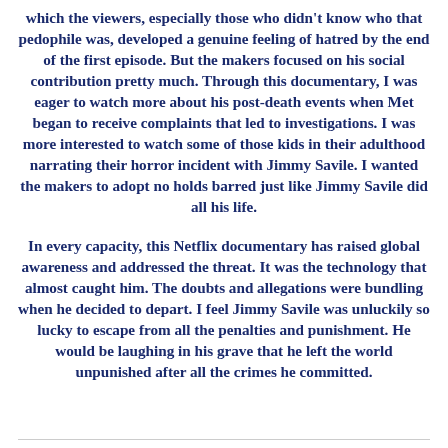which the viewers, especially those who didn't know who that pedophile was, developed a genuine feeling of hatred by the end of the first episode. But the makers focused on his social contribution pretty much. Through this documentary, I was eager to watch more about his post-death events when Met began to receive complaints that led to investigations. I was more interested to watch some of those kids in their adulthood narrating their horror incident with Jimmy Savile. I wanted the makers to adopt no holds barred just like Jimmy Savile did all his life.
In every capacity, this Netflix documentary has raised global awareness and addressed the threat. It was the technology that almost caught him. The doubts and allegations were bundling when he decided to depart. I feel Jimmy Savile was unluckily so lucky to escape from all the penalties and punishment. He would be laughing in his grave that he left the world unpunished after all the crimes he committed.